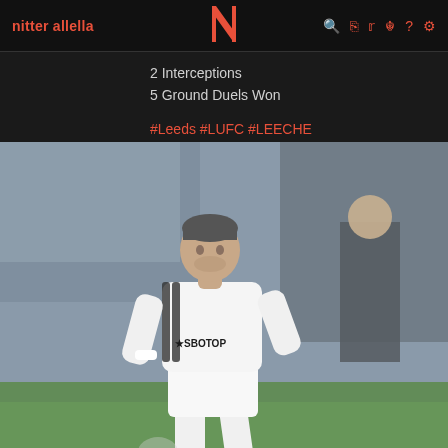nitter allella  N
2 Interceptions
5 Ground Duels Won
#Leeds #LUFC #LEECHE
[Figure (photo): A Leeds United footballer wearing a white SBOTOP-sponsored Adidas jersey mid-action during a match, with blurred crowd and dugout in background]